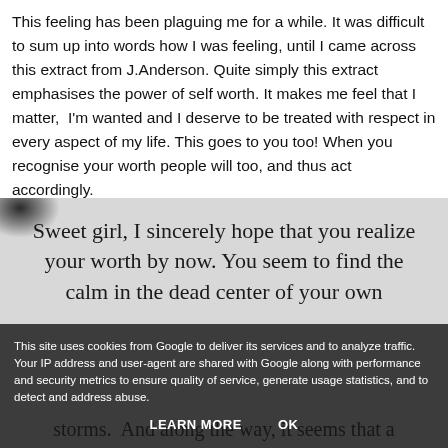This feeling has been plaguing me for a while. It was difficult to sum up into words how I was feeling, until I came across this extract from J.Anderson. Quite simply this extract emphasises the power of self worth. It makes me feel that I matter, I'm wanted and I deserve to be treated with respect in every aspect of my life. This goes to you too! When you recognise your worth people will too, and thus act accordingly.
[Figure (illustration): A quote image with dark/grainy background showing text: 'Sweet girl, I sincerely hope that you realize your worth by now. You seem to find the calm in the dead center of your own storms. And along the way, it seems that a...' and partially visible lower lines including 'They fall with your winds. I'm asking you,' and 'practically pleading with you to...' An ink splatter appears in the top-left corner.]
This site uses cookies from Google to deliver its services and to analyze traffic. Your IP address and user-agent are shared with Google along with performance and security metrics to ensure quality of service, generate usage statistics, and to detect and address abuse.
LEARN MORE    OK